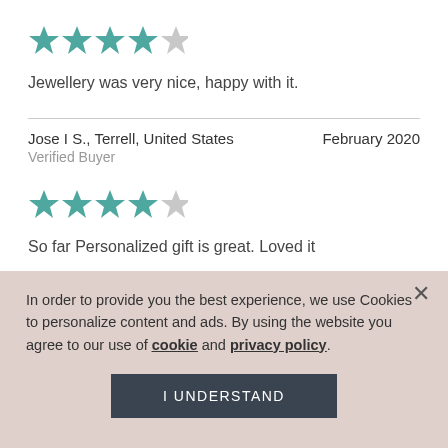[Figure (other): 4 out of 5 stars rating (teal filled stars, one grey)]
Jewellery was very nice, happy with it.
Jose I S., Terrell, United States    February 2020
Verified Buyer
[Figure (other): 4 out of 5 stars rating (teal filled stars, one grey)]
So far Personalized gift is great. Loved it
Brittney B., England, United States    February 2020
In order to provide you the best experience, we use Cookies to personalize content and ads. By using the website you agree to our use of cookie and privacy policy.
I UNDERSTAND